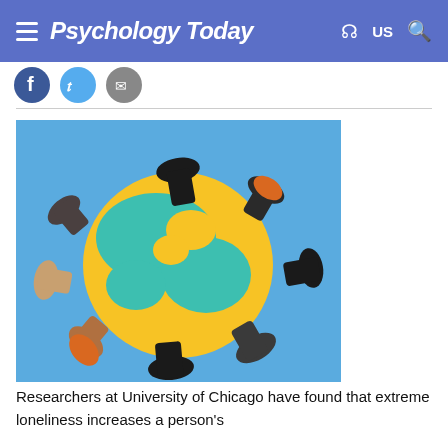Psychology Today — US
[Figure (photo): Multiple hands of diverse people reaching in to touch a large inflatable globe against a blue sky background, symbolizing global connection and unity.]
Researchers at University of Chicago have found that extreme loneliness increases a person's